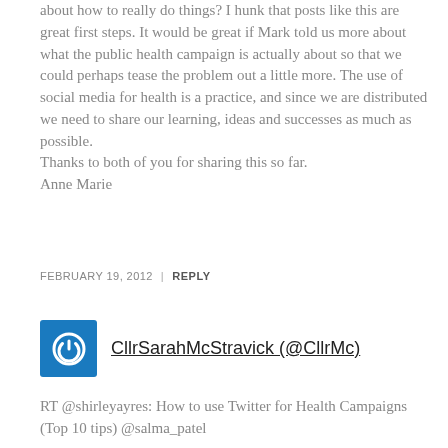about how to really do things? I hunk that posts like this are great first steps. It would be great if Mark told us more about what the public health campaign is actually about so that we could perhaps tease the problem out a little more. The use of social media for health is a practice, and since we are distributed we need to share our learning, ideas and successes as much as possible.
Thanks to both of you for sharing this so far.
Anne Marie
FEBRUARY 19, 2012 | REPLY
[Figure (other): Blue square avatar icon with white power/user symbol]
CllrSarahMcStravick (@CllrMc)
RT @shirleyayres: How to use Twitter for Health Campaigns (Top 10 tips) @salma_patel